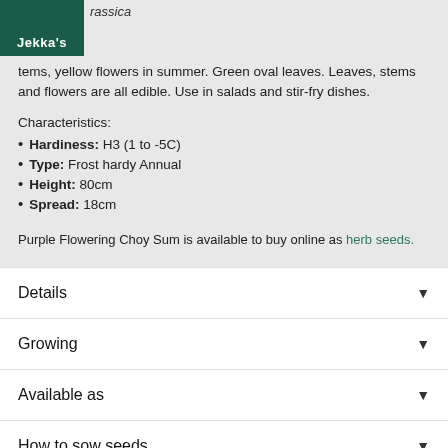Jekka's
rassica • tems, yellow flowers in summer. Green oval leaves. Leaves, stems and flowers are all edible. Use in salads and stir-fry dishes.
Characteristics:
Hardiness: H3 (1 to -5C)
Type: Frost hardy Annual
Height: 80cm
Spread: 18cm
Purple Flowering Choy Sum is available to buy online as herb seeds.
Details
Growing
Available as
How to sow seeds
Sustainability